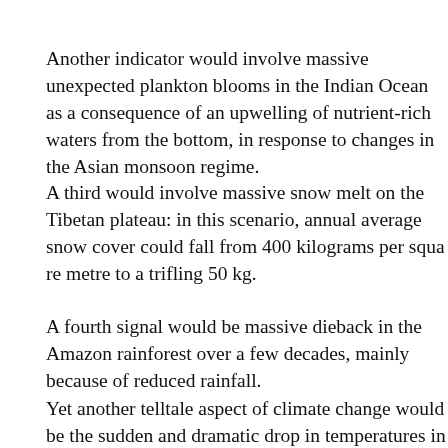Another indicator would involve massive unexpected plankton blooms in the Indian Ocean as a consequence of an upwelling of nutrient-rich waters from bottom, in response to changes in the Asian monsoon regime.
A third would involve massive snow melt on the Tibetan plateau: in this scenario, annual average snow cover could fall from 400 kilograms per square metre to a trifling 50 kg.
A fourth signal would be massive dieback in the Amazon rainforest over a few decades, mainly because of reduced rainfall.
Yet another telltale aspect of climate change would be the sudden and dramatic drop in temperatures in the North Atlantic, as a response to global warming and a collapse of the ocean current that carries warm surface water north, while denser, colder and increasingly more saline water in the deep sinks to the bottom and flows back southward.
The researchers conclude: “An additional concern is that the present generation of climate models still does not account for several mechanisms that could potentially give rise to abrupt change. This includes ice sheet collapse…”